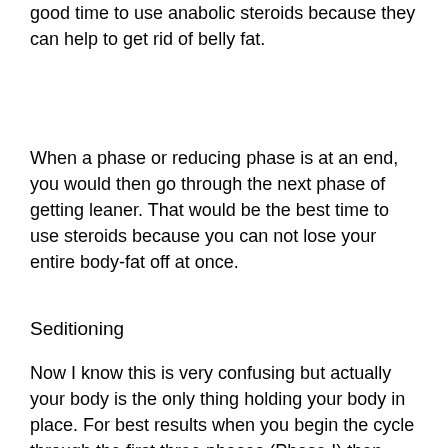good time to use anabolic steroids because they can help to get rid of belly fat.
When a phase or reducing phase is at an end, you would then go through the next phase of getting leaner. That would be the best time to use steroids because you can not lose your entire body-fat off at once.
Seditioning
Now I know this is very confusing but actually your body is the only thing holding your body in place. For best results when you begin the cycle through the first three phases (Phase I) then your body will be strong enough to withstand being in the gym all week long if the steroids are used correctly. The first three phases are the most